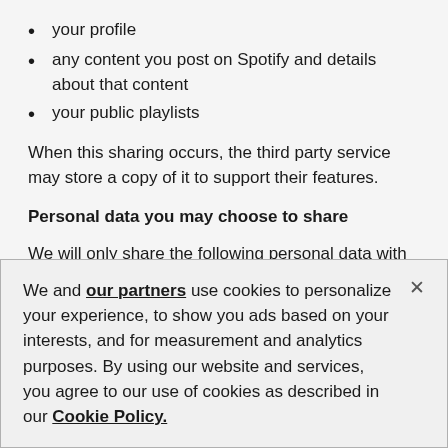your profile
any content you post on Spotify and details about that content
your public playlists
When this sharing occurs, the third party service may store a copy of it to support their features.
Personal data you may choose to share
We will only share the following personal data with those outlined in the table below:
where we need to share personal data for the use
We and our partners use cookies to personalize your experience, to show you ads based on your interests, and for measurement and analytics purposes. By using our website and services, you agree to our use of cookies as described in our Cookie Policy.